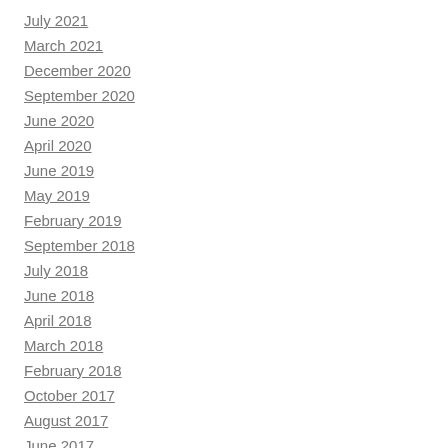July 2021
March 2021
December 2020
September 2020
June 2020
April 2020
June 2019
May 2019
February 2019
September 2018
July 2018
June 2018
April 2018
March 2018
February 2018
October 2017
August 2017
June 2017
May 2017